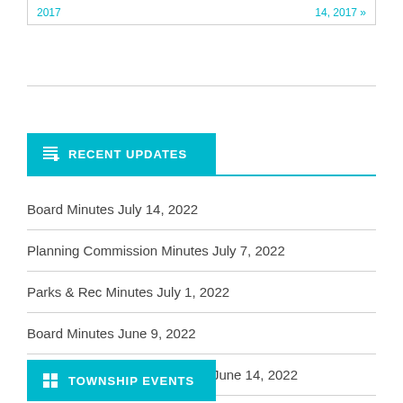2017 ... 14, 2017 »
RECENT UPDATES
Board Minutes July 14, 2022
Planning Commission Minutes July 7, 2022
Parks & Rec Minutes July 1, 2022
Board Minutes June 9, 2022
Planning Commission Minutes June 14, 2022
TOWNSHIP EVENTS